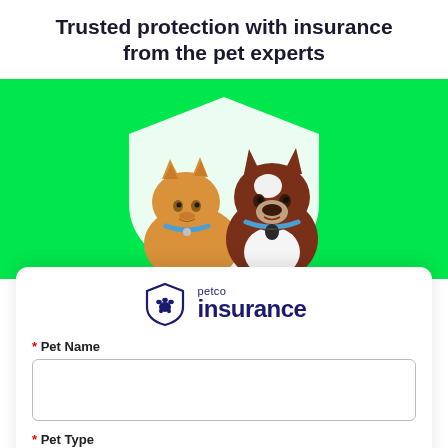Trusted protection with insurance from the pet experts
[Figure (illustration): Bright green background with a white shield shape. In the foreground, an orange tabby cat with a blue collar and a brown-and-white Boston Terrier with a teal collar sit side by side, centered in the image.]
[Figure (logo): Petco Insurance logo: a shield icon with a paw print, next to the text 'petco insurance' in dark navy.]
* Pet Name
* Pet Type